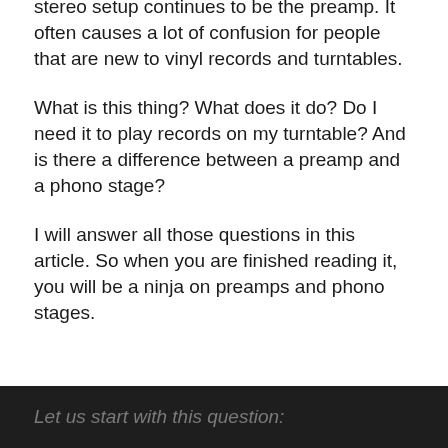stereo setup continues to be the preamp. It often causes a lot of confusion for people that are new to vinyl records and turntables.
What is this thing? What does it do? Do I need it to play records on my turntable? And is there a difference between a preamp and a phono stage?
I will answer all those questions in this article. So when you are finished reading it, you will be a ninja on preamps and phono stages.
Let us start with this question: